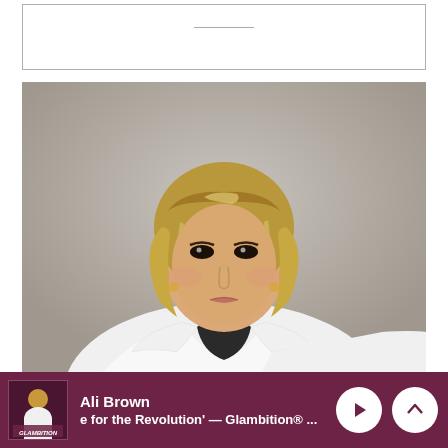[Figure (other): Empty white box with a short horizontal line near the top center, likely a collapsed image or placeholder]
[Figure (photo): Professional headshot of Ali Brown, a woman with blonde wavy hair wearing a white blazer over a black top, photographed against a gray background]
Ali Brown
e for the Revolution' — Glambition® ...